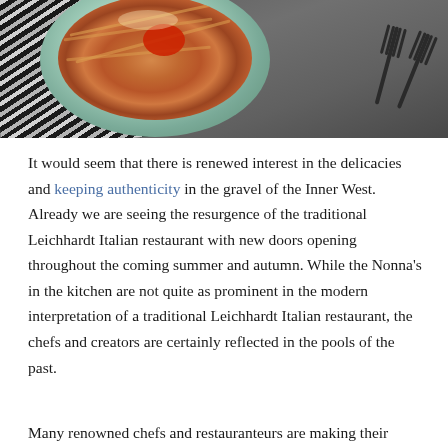[Figure (photo): A bowl of pasta (spaghetti with tomato sauce and cheese) in a green/teal bowl, placed on a grey surface with a black and white striped cloth on the left side and two dark metal forks on the right side.]
It would seem that there is renewed interest in the delicacies and keeping authenticity in the gravel of the Inner West. Already we are seeing the resurgence of the traditional Leichhardt Italian restaurant with new doors opening throughout the coming summer and autumn. While the Nonna's in the kitchen are not quite as prominent in the modern interpretation of a traditional Leichhardt Italian restaurant, the chefs and creators are certainly reflected in the pools of the past.
Many renowned chefs and restauranteurs are making their